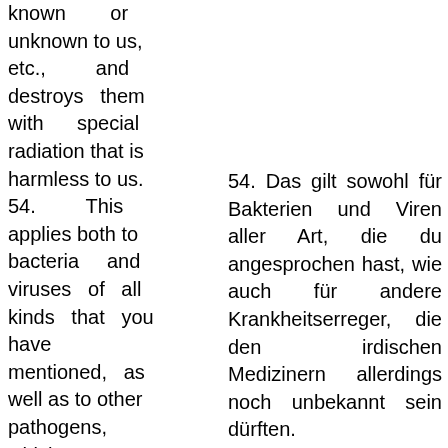known or unknown to us, etc., and destroys them with special radiation that is harmless to us.
54. This applies both to bacteria and viruses of all kinds that you have mentioned, as well as to other pathogens, which, however, may still be unknown to
54. Das gilt sowohl für Bakterien und Viren aller Art, die du angesprochen hast, wie auch für andere Krankheitserreger, die den irdischen Medizinern allerdings noch unbekannt sein dürften.